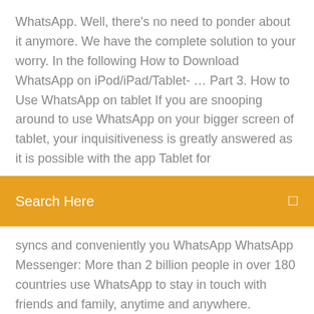WhatsApp. Well, there's no need to ponder about it anymore. We have the complete solution to your worry. In the following How to Download WhatsApp on iPod/iPad/Tablet- … Part 3. How to Use WhatsApp on tablet If you are snooping around to use WhatsApp on your bigger screen of tablet, your inquisitiveness is greatly answered as it is possible with the app Tablet for
Search Here
syncs and conveniently you WhatsApp WhatsApp Messenger: More than 2 billion people in over 180 countries use WhatsApp to stay in touch with friends and family, anytime and anywhere. WhatsApp is free and offers simple, secure, reliable messaging and calling, available on phones all over the world.
Itunes para windows 10 descargar gratis
Credit du nord identifiant internet
Age of empires ii hd edition rise of the rajas
How to reduce mp4 movie file size